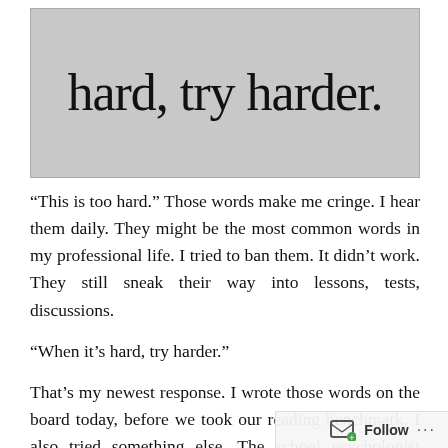[Figure (photo): Handwritten text on a whiteboard or paper reading 'hard, try harder.' in black marker, cursive/informal handwriting style, against a grey-white background.]
“This is too hard.” Those words make me cringe. I hear them daily. They might be the most common words in my professional life. I tried to ban them. It didn’t work. They still sneak their way into lessons, tests, discussions.
“When it’s hard, try harder.”
That’s my newest response. I wrote those words on the board today, before we took our reading benchmark. I also tried something else. The school psychologist slipped a book into my box. Teaching Meditation to Children. We